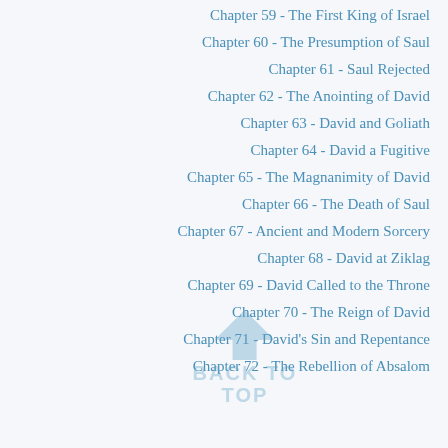Chapter 59 - The First King of Israel
Chapter 60 - The Presumption of Saul
Chapter 61 - Saul Rejected
Chapter 62 - The Anointing of David
Chapter 63 - David and Goliath
Chapter 64 - David a Fugitive
Chapter 65 - The Magnanimity of David
Chapter 66 - The Death of Saul
Chapter 67 - Ancient and Modern Sorcery
Chapter 68 - David at Ziklag
Chapter 69 - David Called to the Throne
Chapter 70 - The Reign of David
Chapter 71 - David's Sin and Repentance
Chapter 72 - The Rebellion of Absalom